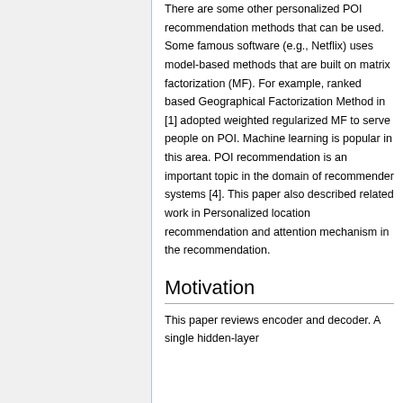There are some other personalized POI recommendation methods that can be used. Some famous software (e.g., Netflix) uses model-based methods that are built on matrix factorization (MF). For example, ranked based Geographical Factorization Method in [1] adopted weighted regularized MF to serve people on POI. Machine learning is popular in this area. POI recommendation is an important topic in the domain of recommender systems [4]. This paper also described related work in Personalized location recommendation and attention mechanism in the recommendation.
Motivation
This paper reviews encoder and decoder. A single hidden-layer